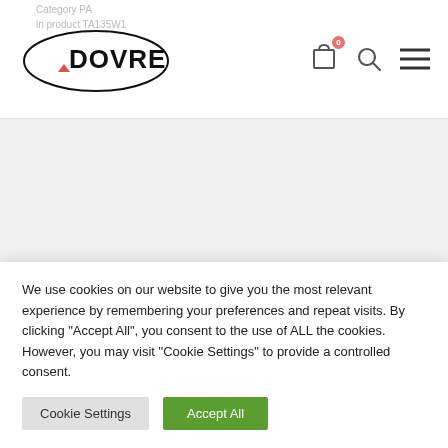Category PA
in product TA135W1
[Figure (logo): Dovre brand logo in oval border]
[Figure (infographic): Navigation icons: shopping cart with badge 0, search icon, hamburger menu]
[Figure (infographic): Grey banner placeholder area]
STORE LOCATOR
[Figure (infographic): Social share icons: Twitter, Facebook, WhatsApp, Email]
Specifications
We use cookies on our website to give you the most relevant experience by remembering your preferences and repeat visits. By clicking "Accept All", you consent to the use of ALL the cookies. However, you may visit "Cookie Settings" to provide a controlled consent.